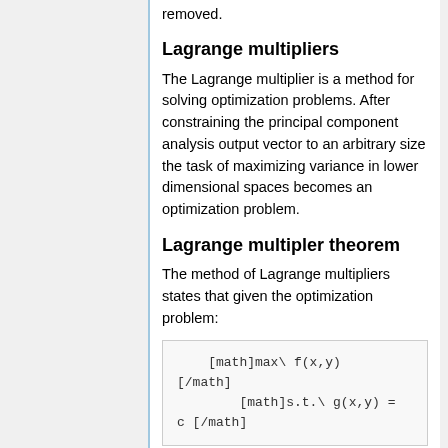removed.
Lagrange multipliers
The Lagrange multiplier is a method for solving optimization problems. After constraining the principal component analysis output vector to an arbitrary size the task of maximizing variance in lower dimensional spaces becomes an optimization problem.
Lagrange multipler theorem
The method of Lagrange multipliers states that given the optimization problem: